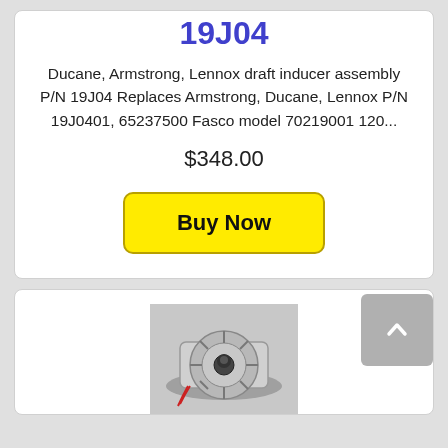19J04
Ducane, Armstrong, Lennox draft inducer assembly P/N 19J04 Replaces Armstrong, Ducane, Lennox P/N 19J0401, 65237500 Fasco model 70219001 120...
$348.00
[Figure (screenshot): Yellow 'Buy Now' button with rounded corners and dark border]
[Figure (photo): Draft inducer blower motor assembly, circular fan with black motor housing on metal base, viewed from above]